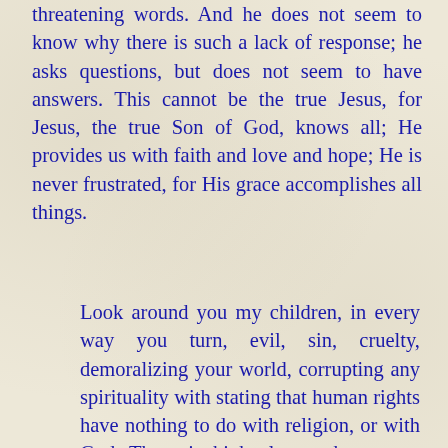threatening words. And he does not seem to know why there is such a lack of response; he asks questions, but does not seem to have answers. This cannot be the true Jesus, for Jesus, the true Son of God, knows all; He provides us with faith and love and hope; He is never frustrated, for His grace accomplishes all things.
Look around you my children, in every way you turn, evil, sin, cruelty, demoralizing your world, corrupting any spirituality with stating that human rights have nothing to do with religion, or with God. Those in high places who govern the law say God, Religion are